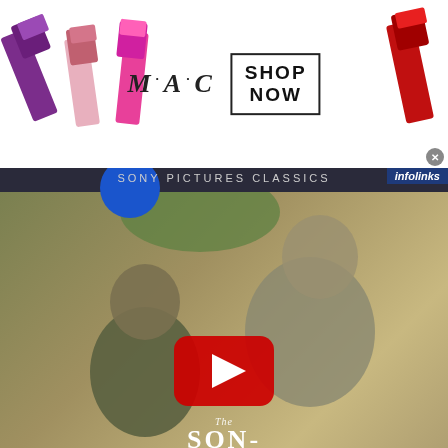[Figure (screenshot): MAC Cosmetics advertisement banner showing lipsticks (purple, pink, red) with MAC logo and SHOP NOW button in black border box]
[Figure (screenshot): Sony Pictures Classics YouTube video thumbnail for 'The Son - Teaser Trailer' showing two people in a dramatic scene with a YouTube play button overlay and movie title text]
infolinks
[Figure (screenshot): Infolinks ad banner with READ MORE button in blue gradient, and 'on Newz Online' text below]